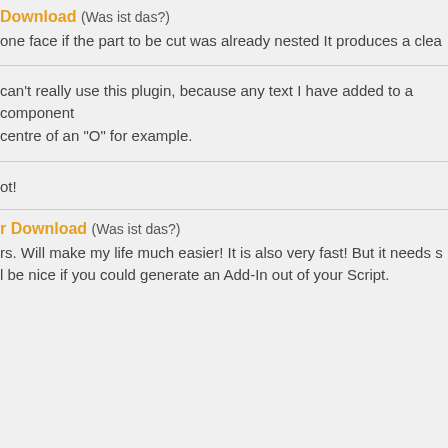Download (Was ist das?)
one face if the part to be cut was already nested It produces a clea
can't really use this plugin, because any text I have added to a component centre of an "O" for example.
ot!
r Download (Was ist das?)
rs. Will make my life much easier! It is also very fast! But it needs s
l be nice if you could generate an Add-In out of your Script.